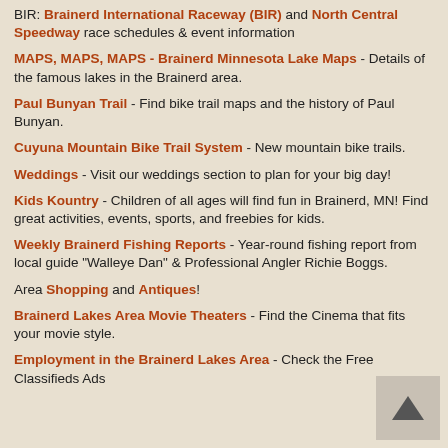BIR: Brainerd International Raceway (BIR) and North Central Speedway race schedules & event information
MAPS, MAPS, MAPS - Brainerd Minnesota Lake Maps - Details of the famous lakes in the Brainerd area.
Paul Bunyan Trail - Find bike trail maps and the history of Paul Bunyan.
Cuyuna Mountain Bike Trail System - New mountain bike trails.
Weddings - Visit our weddings section to plan for your big day!
Kids Kountry - Children of all ages will find fun in Brainerd, MN! Find great activities, events, sports, and freebies for kids.
Weekly Brainerd Fishing Reports - Year-round fishing report from local guide "Walleye Dan" & Professional Angler Richie Boggs.
Area Shopping and Antiques!
Brainerd Lakes Area Movie Theaters - Find the Cinema that fits your movie style.
Employment in the Brainerd Lakes Area - Check the Free Classifieds Ads